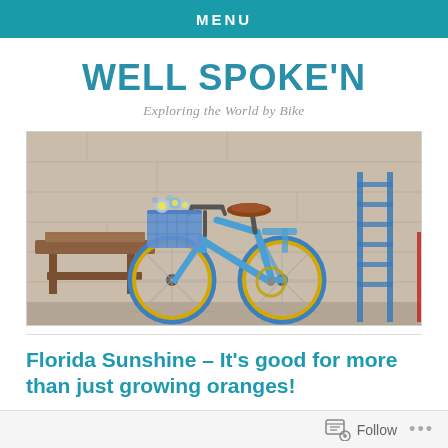MENU
WELL SPOKE'N
Exploring the World by Bike
[Figure (photo): A blue bicycle with yellow wheel rims and a flower basket, leaning against a stone wall, with a wooden bench visible on the left and a blue metal rack on the right.]
Florida Sunshine – It's good for more than just growing oranges!
Follow ...